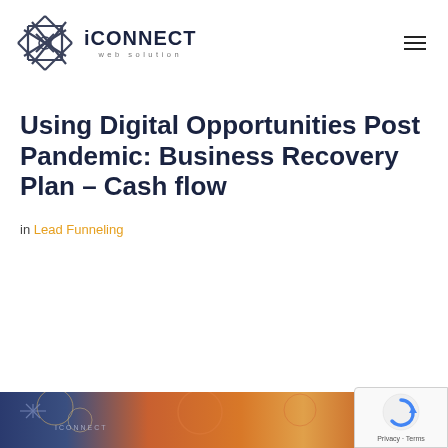[Figure (logo): iConnect web solution logo with geometric knot/cross symbol in dark navy blue, followed by text 'iCONNECT' in bold dark navy and 'web solution' in small spaced gray letters]
Using Digital Opportunities Post Pandemic: Business Recovery Plan – Cash flow
in Lead Funneling
[Figure (photo): Partial view of a colorful decorative image with orange, red and blue patterns, partially cut off at the bottom of the page]